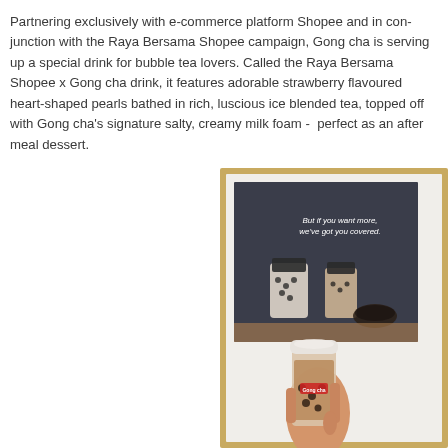Partnering exclusively with e-commerce platform Shopee and in conjunction with the Raya Bersama Shopee campaign, Gong cha is serving up a special drink for bubble tea lovers. Called the Raya Bersama Shopee x Gong cha drink, it features adorable strawberry flavoured heart-shaped pearls bathed in rich, luscious ice blended tea, topped off with Gong cha's signature salty, creamy milk foam - perfect as an after meal dessert.
[Figure (photo): A hand holding a Gong cha branded iced bubble tea drink in a clear plastic cup with milk foam on top, in front of a framed Gong cha advertisement poster showing bubble tea drinks and the text 'But if you want more, we've got you covered.']